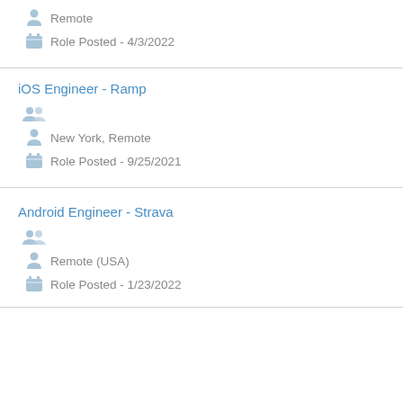Remote
Role Posted - 4/3/2022
iOS Engineer - Ramp
New York, Remote
Role Posted - 9/25/2021
Android Engineer - Strava
Remote (USA)
Role Posted - 1/23/2022